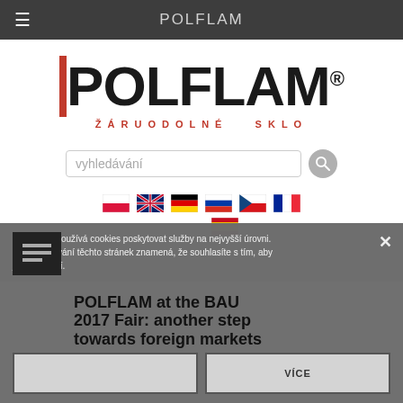POLFLAM
[Figure (logo): POLFLAM logo with red vertical bar, bold black POLFLAM text with registered trademark symbol, and red subtitle ŽÁRUODOLNÉ SKLO]
[Figure (screenshot): Search bar with placeholder text 'vyhledávání' and search button]
[Figure (screenshot): Language flags: Polish, English (UK), German, Russian, Czech, French, Spanish]
POLFLAM at the BAU 2017 Fair: another step towards foreign markets
Tento web používá cookies poskytovat služby na nejvyšší úrovni. Další používání těchto stránek znamená, že souhlasíte s tím, aby jejích použití.